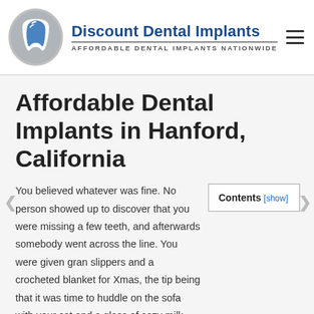[Figure (logo): Discount Dental Implants logo with tooth icon, title text 'Discount Dental Implants' and subtitle 'AFFORDABLE DENTAL IMPLANTS NATIONWIDE']
Affordable Dental Implants in Hanford, California
You believed whatever was fine. No person showed up to discover that you were missing a few teeth, and afterwards somebody went across the line. You were given gran slippers and a crocheted blanket for Xmas, the tip being that it was time to huddle on the sofa with your cat and a glass of cozy milk.
Discovering Affordable Dental Implants in Hanford, California– Why So Pricey?